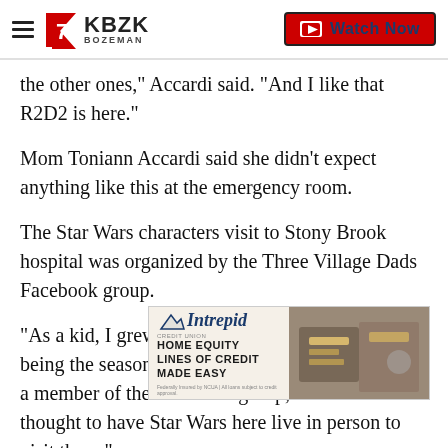KBZK BOZEMAN — Watch Now
the other ones," Accardi said. "And I like that R2D2 is here."
Mom Toniann Accardi said she didn't expect anything like this at the emergency room.
The Star Wars characters visit to Stony Brook hospital was organized by the Three Village Dads Facebook group.
“As a kid, I grew up loving Star Wars. And this being the season of cheer and love,” Steven Wong, a member of the Facebook group, said. “So we thought to have Star Wars here live in person to visit them."
[Figure (other): Advertisement for Intrepid Credit Union: HOME EQUITY LINES OF CREDIT MADE EASY, with toolbox image]
Stony ... st